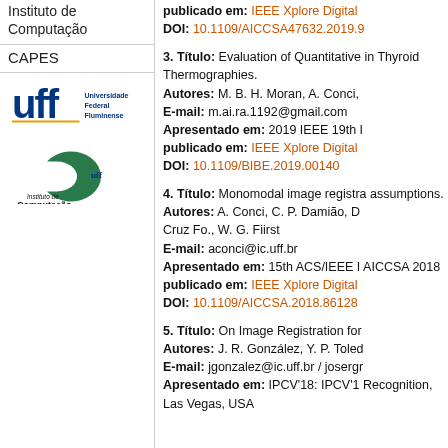Instituto de Computação
CAPES
[Figure (logo): UFF - Universidade Federal Fluminense logo]
[Figure (logo): Instituto de Computação UFF logo]
publicado em: IEEE Xplore Digital... DOI: 10.1109/AICCSA47632.2019.9...
3. Título: Evaluation of Quantitative in Thyroid Thermographies. Autores: M. B. H. Moran, A. Conci, E-mail: m.ai.ra.1192@gmail.com Apresentado em: 2019 IEEE 19th p... publicado em: IEEE Xplore Digital DOI: 10.1109/BIBE.2019.00140
4. Título: Monomodal image registra... assumptions. Autores: A. Conci, C. P. Damião, D... Cruz Fo., W. G. Fiirst E-mail: aconci@ic.uff.br Apresentado em: 15th ACS/IEEE I... AICCSA 2018 publicado em: IEEE Xplore Digital DOI: 10.1109/AICCSA.2018.86128...
5. Título: On Image Registration for... Autores: J. R. González, Y. P. Toled... E-mail: jgonzalez@ic.uff.br / josergr... Apresentado em: IPCV'18: IPCV'1... Recognition, Las Vegas, USA